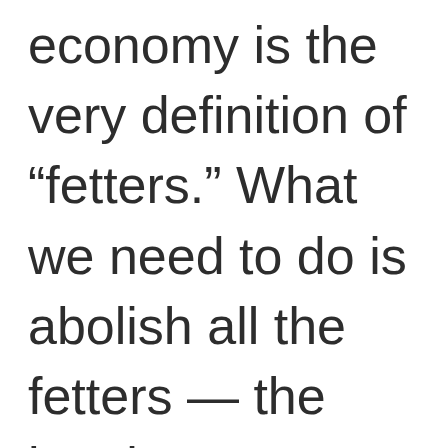economy is the very definition of “fetters.” What we need to do is abolish all the fetters — the legal monopolies,